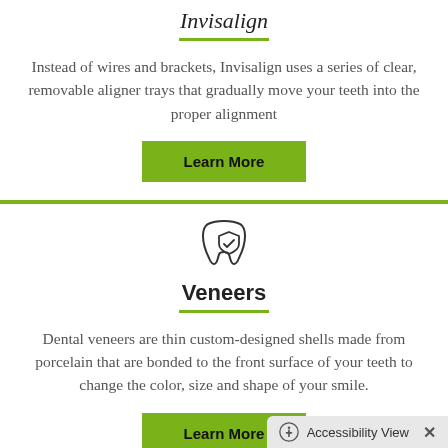Invisalign
Instead of wires and brackets, Invisalign uses a series of clear, removable aligner trays that gradually move your teeth into the proper alignment
[Figure (illustration): Green 'Learn More' button]
[Figure (illustration): Tooth with shield icon representing Veneers]
Veneers
Dental veneers are thin custom-designed shells made from porcelain that are bonded to the front surface of your teeth to change the color, size and shape of your smile.
[Figure (illustration): Green 'Learn More' button]
Accessibility View